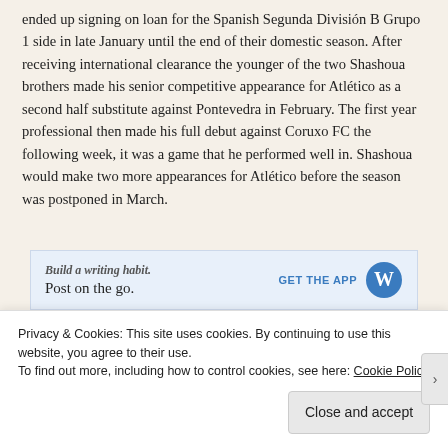ended up signing on loan for the Spanish Segunda División B Grupo 1 side in late January until the end of their domestic season. After receiving international clearance the younger of the two Shashoua brothers made his senior competitive appearance for Atlético as a second half substitute against Pontevedra in February. The first year professional then made his full debut against Coruxo FC the following week, it was a game that he performed well in. Shashoua would make two more appearances for Atlético before the season was postponed in March.
[Figure (other): WordPress app advertisement banner: 'Build a writing habit. Post on the go.' with GET THE APP button and WordPress logo]
To summarise Armando's season for our development side he was
Privacy & Cookies: This site uses cookies. By continuing to use this website, you agree to their use. To find out more, including how to control cookies, see here: Cookie Policy
Close and accept